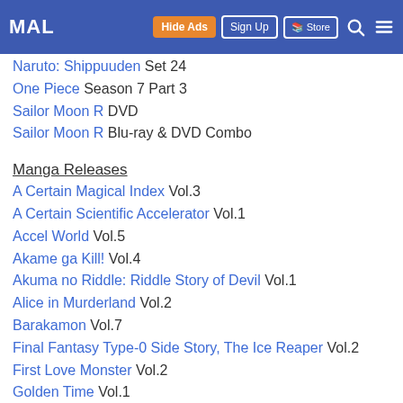MAL — MyAnimeList navigation bar
Naruto: Shippuuden Set 24
One Piece Season 7 Part 3
Sailor Moon R DVD
Sailor Moon R Blu-ray & DVD Combo
Manga Releases
A Certain Magical Index Vol.3
A Certain Scientific Accelerator Vol.1
Accel World Vol.5
Akame ga Kill! Vol.4
Akuma no Riddle: Riddle Story of Devil Vol.1
Alice in Murderland Vol.2
Barakamon Vol.7
Final Fantasy Type-0 Side Story, The Ice Reaper Vol.2
First Love Monster Vol.2
Golden Time Vol.1
Horimiya Vol.1
Lone Wolf & Cub Vol.10 Omnibus Edition
Missions of Love Vol.11
Puella Magi Madoka★Magica: Homura's Revenge! Vol.2